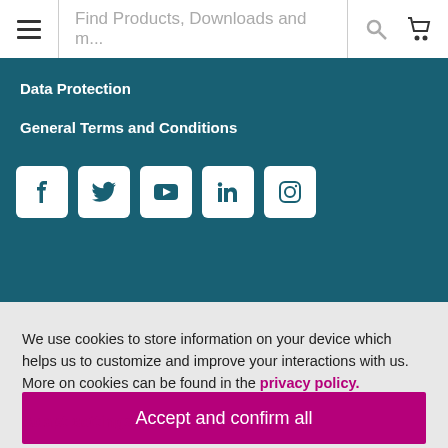Find Products, Downloads and m...
Data Protection
General Terms and Conditions
[Figure (infographic): Social media icons row: Facebook, Twitter, YouTube, LinkedIn, Instagram — white square icons on teal background]
We use cookies to store information on your device which helps us to customize and improve your interactions with us. More on cookies can be found in the privacy policy.
Accept and confirm all
Adapt settings